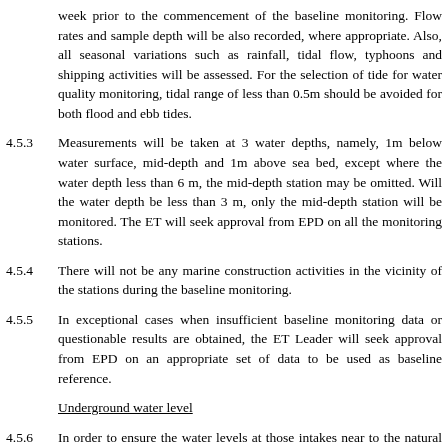week prior to the commencement of the baseline monitoring. Flow rates and sample depth will be also recorded, where appropriate. Also, all seasonal variations such as rainfall, tidal flow, typhoons and shipping activities will be assessed. For the selection of tide for water quality monitoring, tidal range of less than 0.5m should be avoided for both flood and ebb tides.
4.5.3   Measurements will be taken at 3 water depths, namely, 1m below water surface, mid-depth and 1m above sea bed, except where the water depth less than 6 m, the mid-depth station may be omitted. Will the water depth be less than 3 m, only the mid-depth station will be monitored. The ET will seek approval from EPD on all the monitoring stations.
4.5.4   There will not be any marine construction activities in the vicinity of the stations during the baseline monitoring.
4.5.5   In exceptional cases when insufficient baseline monitoring data or questionable results are obtained, the ET Leader will seek approval from EPD on an appropriate set of data to be used as baseline reference.
Underground water level
4.5.6   In order to ensure the water levels at those intakes near to the natural stream courses and thus on the surrounding habitats will not be significantly affected, the groundwater levels will be measured